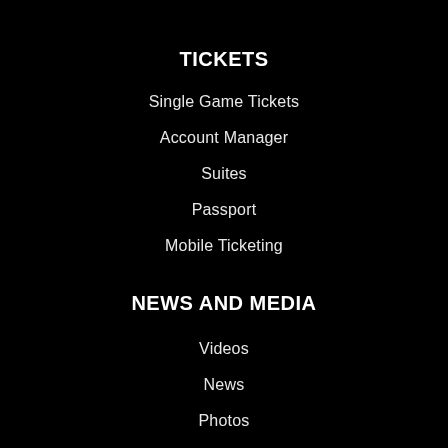TICKETS
Single Game Tickets
Account Manager
Suites
Passport
Mobile Ticketing
NEWS AND MEDIA
Videos
News
Photos